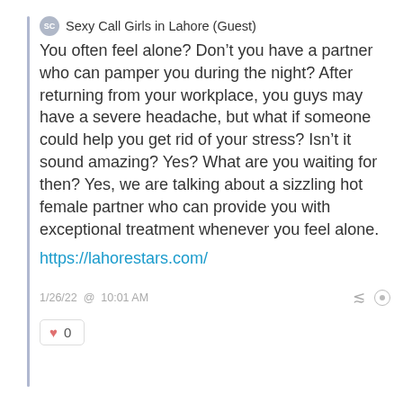SC Sexy Call Girls in Lahore (Guest)
You often feel alone? Don’t you have a partner who can pamper you during the night? After returning from your workplace, you guys may have a severe headache, but what if someone could help you get rid of your stress? Isn’t it sound amazing? Yes? What are you waiting for then? Yes, we are talking about a sizzling hot female partner who can provide you with exceptional treatment whenever you feel alone.
https://lahorestars.com/
1/26/22 @ 10:01 AM
♥ 0